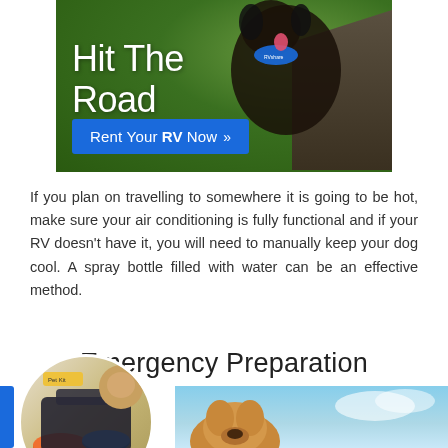[Figure (photo): Black curly-haired dog wearing a blue RVshare bandana, sitting near wooden steps on grass. Banner reads 'Hit The Road' with a blue button 'Rent Your RV Now >>']
If you plan on travelling to somewhere it is going to be hot, make sure your air conditioning is fully functional and if your RV doesn't have it, you will need to manually keep your dog cool. A spray bottle filled with water can be an effective method.
Emergency Preparation
[Figure (photo): Bottom portion showing two images: left shows pet travel accessories in a circle frame with a blue stripe, right shows a dog outdoors against a blue sky background.]